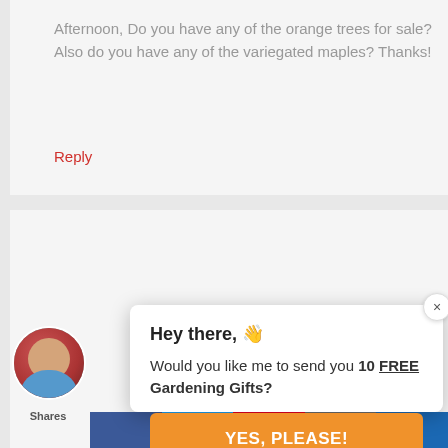Afternoon, Do you have any of the orange trees for sale? Also do you have any of the variegated maples? Thanks!
Reply
Hey there, 👋
Would you like me to send you 10 FREE Gardening Gifts?
YES, PLEASE!
Shares
3